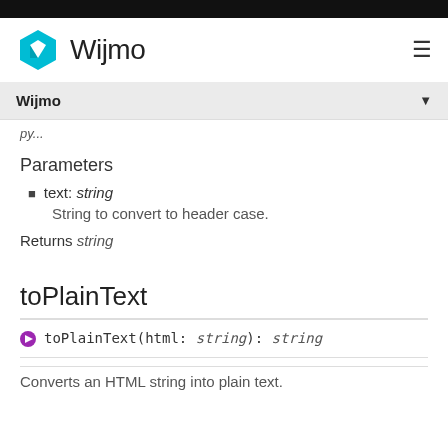Wijmo
Parameters
text: string
String to convert to header case.
Returns string
toPlainText
toPlainText(html: string): string
Converts an HTML string into plain text.